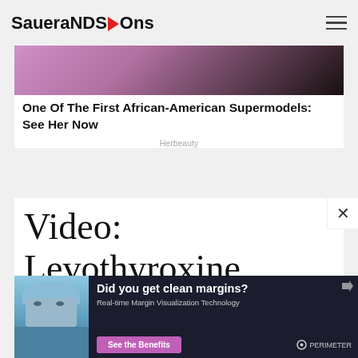SaueraNDS▶Ons
[Figure (photo): Partial photo of a person wearing a pink/purple textured jacket, cropped at the top]
One Of The First African-American Supermodels: See Her Now
Herbeauty
Video: Levothyroxine Thyroid Medication Treatment and how to take properly
[Figure (photo): Advertisement banner: 'Did you get clean margins? Real-time Margin Visualization Technology' - See the Benefits - PERIMETER. Shows a surgeon/doctor in medical mask and cap.]